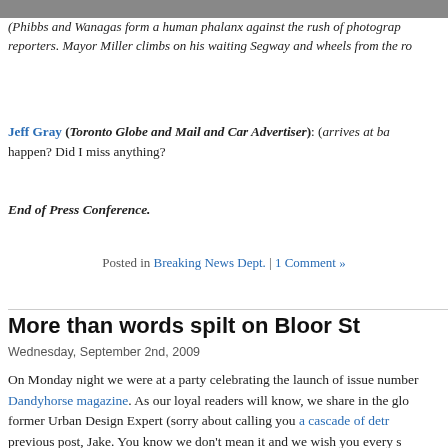[Figure (photo): Black and white photo strip at top of page]
(Phibbs and Wanagas form a human phalanx against the rush of photographers and reporters. Mayor Miller climbs on his waiting Segway and wheels from the ro...
Jeff Gray (Toronto Globe and Mail and Car Advertiser): (arrives at back... happen? Did I miss anything?
End of Press Conference.
Posted in Breaking News Dept. | 1 Comment »
More than words spilt on Bloor St
Wednesday, September 2nd, 2009
On Monday night we were at a party celebrating the launch of issue number of Dandyhorse magazine. As our loyal readers will know, we share in the glo... former Urban Design Expert (sorry about calling you a cascade of detr... previous post, Jake. You know we don't mean it and we wish you every s... who has a short piece (cribbed from these pages) in the issue on the s... bikelanes along Bloor Danforth. In a nutshell Allderdice claims bikelanes are... on the street, but that whatever happens it's imperative the city not destroy... of the highway that already works well for all road users: the stretch of Danf... Pape Ave to Broadview. In fact he advocates (and we at the ALLDERBLOB ... on this) an extension of the road-striping east of Pape all the way to Victo... Ave, a simple move that would turn all the Danforth into a safe and pleasa... for all: cyclists, drivers and shoppers on foot.